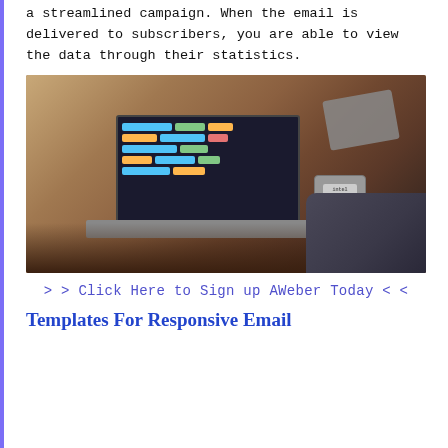a streamlined campaign. When the email is delivered to subscribers, you are able to view the data through their statistics.
[Figure (photo): Person sitting on a brown leather couch with a laptop open showing a colorful scheduling/dashboard interface, with a small Intel device and accessories on the couch beside it.]
> > Click Here to Sign up AWeber Today < <
Templates For Responsive Email